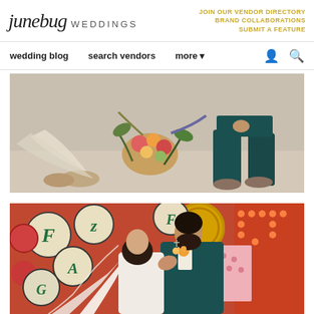junebug WEDDINGS | JOIN OUR VENDOR DIRECTORY | BRAND COLLABORATIONS | SUBMIT A FEATURE
wedding blog   search vendors   more
[Figure (photo): Overhead view of a couple sitting on sandy ground with a colorful tropical bridal bouquet between them. The bride wears white shoes and the groom wears a teal suit.]
[Figure (photo): A couple sharing an intimate moment in front of colorful vintage neon signs with letter marquee decorations. The bride wears a white gown with veil and the groom wears a teal suit with orange boutonniere.]